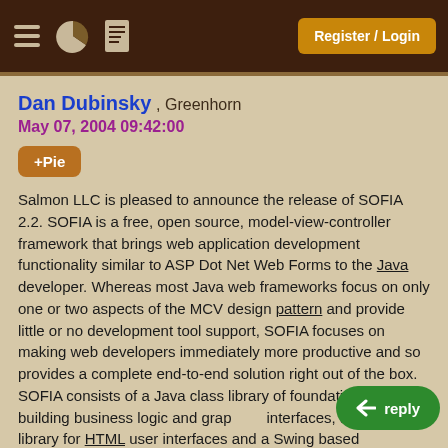Register / Login
Dan Dubinsky , Greenhorn
May 07, 2004 09:42:00
+Pie
Salmon LLC is pleased to announce the release of SOFIA 2.2. SOFIA is a free, open source, model-view-controller framework that brings web application development functionality similar to ASP Dot Net Web Forms to the Java developer. Whereas most Java web frameworks focus on only one or two aspects of the MCV design pattern and provide little or no development tool support, SOFIA focuses on making web developers immediately more productive and so provides a complete end-to-end solution right out of the box. SOFIA consists of a Java class library of foundation code for building business logic and graphical interfaces, a JSP tag library for HTML user interfaces and a Swing based component library for browser